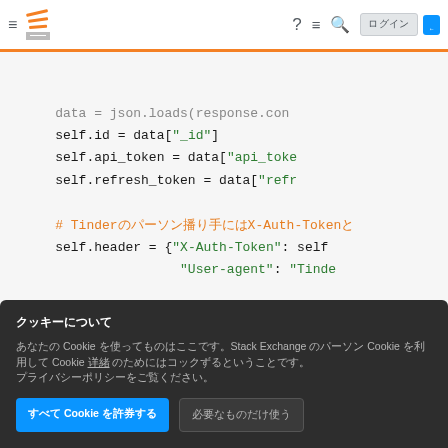Stack Overflow navigation bar with hamburger menu, logo, icons, and login/signup buttons
[Figure (screenshot): Code snippet showing Python class constructor with self.id, self.api_token, self.refresh_token assignments, Tinder header dict with X-Auth-Token and User-agent, meta = self.getMeta(), and super().__init__(meta['user'])]
Cookie（クッキー）について
あなたの体験を向上させ、Stack Exchange のサービスに従い Cookie を利用します。Cookie の詳細 詳細については、プライバシーポリシーをご覧ください。
Cookie を全て受け入れる　　必要なものだけ使う